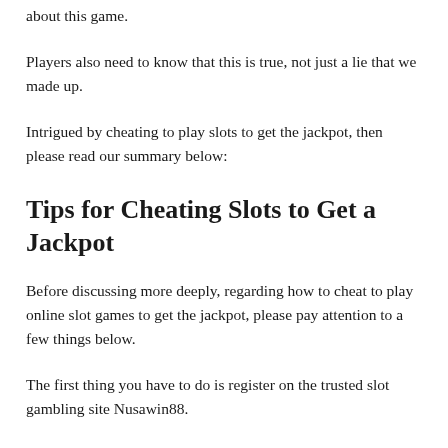about this game.
Players also need to know that this is true, not just a lie that we made up.
Intrigued by cheating to play slots to get the jackpot, then please read our summary below:
Tips for Cheating Slots to Get a Jackpot
Before discussing more deeply, regarding how to cheat to play online slot games to get the jackpot, please pay attention to a few things below.
The first thing you have to do is register on the trusted slot gambling site Nusawin88.